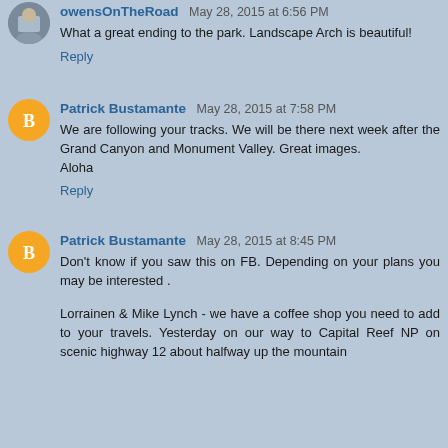[Figure (photo): Avatar photo of owensOnTheRoad user]
owensOnTheRoad May 28, 2015 at 6:56 PM
What a great ending to the park. Landscape Arch is beautiful!
Reply
[Figure (logo): Orange Blogger icon avatar for Patrick Bustamante]
Patrick Bustamante May 28, 2015 at 7:58 PM
We are following your tracks. We will be there next week after the Grand Canyon and Monument Valley. Great images.
Aloha
Reply
[Figure (logo): Orange Blogger icon avatar for Patrick Bustamante]
Patrick Bustamante May 28, 2015 at 8:45 PM
Don't know if you saw this on FB. Depending on your plans you may be interested .
Lorrainen & Mike Lynch - we have a coffee shop you need to add to your travels. Yesterday on our way to Capital Reef NP on scenic highway 12 about halfway up the mountain